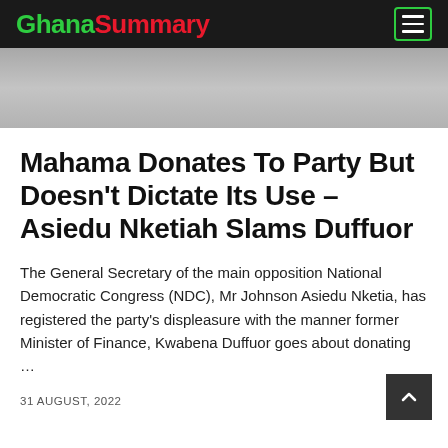GhanaSummary
[Figure (photo): Gray banner image area at the top of the article page]
Mahama Donates To Party But Doesn't Dictate Its Use – Asiedu Nketiah Slams Duffuor
The General Secretary of the main opposition National Democratic Congress (NDC), Mr Johnson Asiedu Nketia, has registered the party's displeasure with the manner former Minister of Finance, Kwabena Duffuor goes about donating …
31 AUGUST, 2022